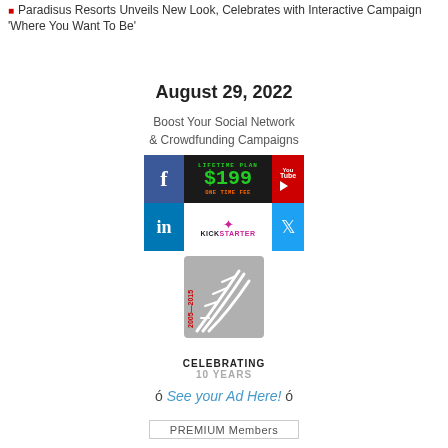Paradisus Resorts Unveils New Look, Celebrates with Interactive Campaign 'Where You Want To Be'
August 29, 2022
Boost Your Social Network & Crowdfunding Campaigns
[Figure (logo): Social media advertising banner showing Facebook, YouTube, LinkedIn, Kickstarter, Twitter icons with Lifetime Plan $199 One Time Fee text]
[Figure (logo): Celebrating 10 Years logo badge with stylized road/track graphic and text '2005-2015 CELEBRATING 10 YEARS']
ó See your Ad Here! ó
PREMIUM Members